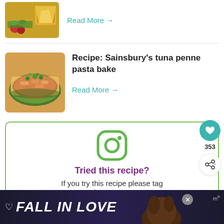[Figure (photo): Food thumbnail - chips/nachos with tomatoes and greens]
Read More →
[Figure (photo): Tuna penne pasta bake in green dish with herbs]
Recipe: Sainsbury's tuna penne pasta bake
Read More →
[Figure (infographic): Instagram follow box with icon, 'Tried this recipe? If you try this recipe please tag #FussFreeFlayours on Instagram or']
[Figure (photo): Advertisement banner: FALL IN LOVE with dog image]